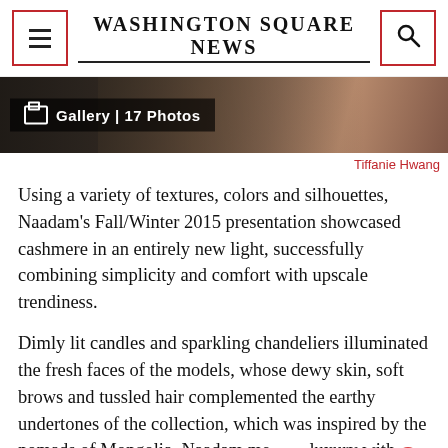Washington Square News
[Figure (photo): Gallery strip showing fashion/rug textures with a dark overlay badge reading 'Gallery | 17 Photos']
Tiffanie Hwang
Using a variety of textures, colors and silhouettes, Naadam’s Fall/Winter 2015 presentation showcased cashmere in an entirely new light, successfully combining simplicity and comfort with upscale trendiness.
Dimly lit candles and sparkling chandeliers illuminated the fresh faces of the models, whose dewy skin, soft brows and tussled hair complemented the earthy undertones of the collection, which was inspired by the nomads of Mongolia. Naadam me luxury with comfort in a collection that consisted